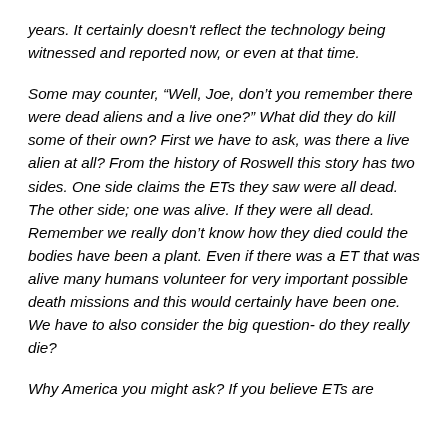years. It certainly doesn't reflect the technology being witnessed and reported now, or even at that time.
Some may counter, “Well, Joe, don’t you remember there were dead aliens and a live one?” What did they do kill some of their own? First we have to ask, was there a live alien at all? From the history of Roswell this story has two sides. One side claims the ETs they saw were all dead. The other side; one was alive. If they were all dead. Remember we really don’t know how they died could the bodies have been a plant. Even if there was a ET that was alive many humans volunteer for very important possible death missions and this would certainly have been one. We have to also consider the big question- do they really die?
Why America you might ask? If you believe ETs are